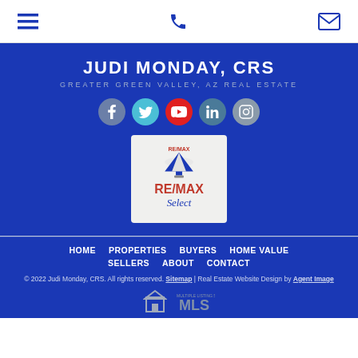Navigation bar with hamburger menu, phone icon, and email icon
JUDI MONDAY, CRS
GREATER GREEN VALLEY, AZ REAL ESTATE
[Figure (illustration): Social media icons: Facebook (gray-blue), Twitter (cyan), YouTube (red), LinkedIn (teal), Instagram (gray)]
[Figure (logo): RE/MAX Select logo with hot air balloon graphic on light gray background]
HOME  PROPERTIES  BUYERS  HOME VALUE  SELLERS  ABOUT  CONTACT
© 2022 Judi Monday, CRS. All rights reserved. Sitemap | Real Estate Website Design by Agent Image
[Figure (logo): MLS and Realtor association logos at bottom]